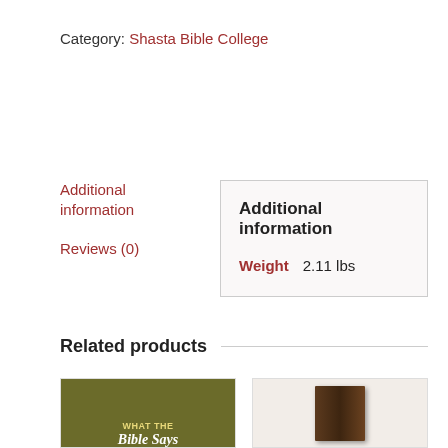Category: Shasta Bible College
Additional information
Additional information
Reviews (0)
| Weight |
| --- |
| 2.11 lbs |
Related products
[Figure (photo): Book cover: What the Bible Says]
[Figure (photo): Dark brown leather bound book]